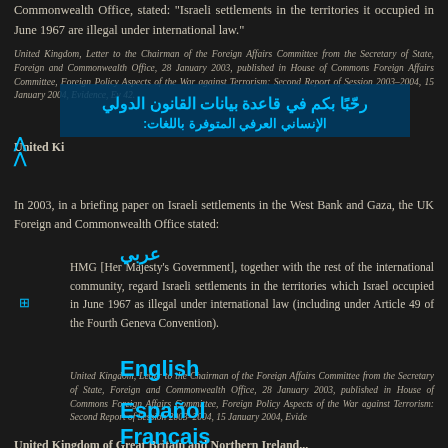Commonwealth Office, stated: "Israeli settlements in the territories it occupied in June 1967 are illegal under international law."
United Kingdom, Letter to the Chairman of the Foreign Affairs Committee from the Secretary of State, Foreign and Commonwealth Office, 28 January 2003, published in House of Commons Foreign Affairs Committee, Foreign Policy Aspects of the War against Terrorism: Second Report of Session 2003–2004, 15 January 2004, Evidence, Ev 42.
United K...
In 2003, in a briefing paper on Israeli settlements in the West Bank and Gaza, the UK Foreign and Commonwealth Office stated:
HMG [Her Majesty's Government], together with the rest of the international community, regard Israeli settlements in the territories which Israel occupied in June 1967 as illegal under international law (including under Article 49 of the Fourth Geneva Convention).
United Kingdom, Letter to the Chairman of the Foreign Affairs Committee from the Secretary of State, Foreign and Commonwealth Office, 28 January 2003, published in House of Commons Foreign Affairs Committee, Foreign Policy Aspects of the War against Terrorism: Second Report of Session 2003–2004, 15 January 2004, Evidence, Ev...
United Kingdom of Great Britain and Northern Ireland...